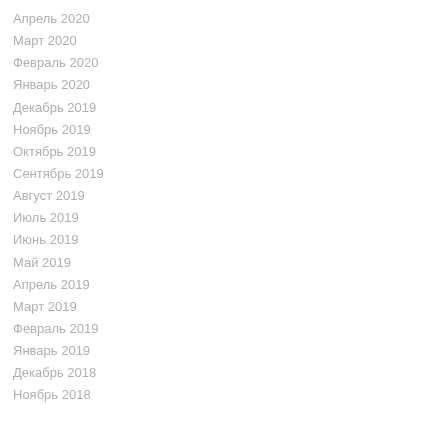Апрель 2020
Март 2020
Февраль 2020
Январь 2020
Декабрь 2019
Ноябрь 2019
Октябрь 2019
Сентябрь 2019
Август 2019
Июль 2019
Июнь 2019
Май 2019
Апрель 2019
Март 2019
Февраль 2019
Январь 2019
Декабрь 2018
Ноябрь 2018